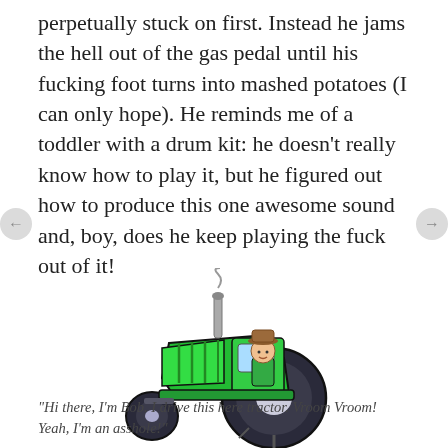perpetually stuck on first. Instead he jams the hell out of the gas pedal until his fucking foot turns into mashed potatoes (I can only hope). He reminds me of a toddler with a drum kit: he doesn't really know how to play it, but he figured out how to produce this one awesome sound and, boy, does he keep playing the fuck out of it!
[Figure (illustration): Clip art illustration of a green tractor with a farmer wearing a brown hat seated in the driver's seat. The tractor has large dark rear wheels and small front wheels.]
"Hi there, I'm Bob. I drive this here tractor. Vroom Vroom! Yeah, I'm an asshole!"